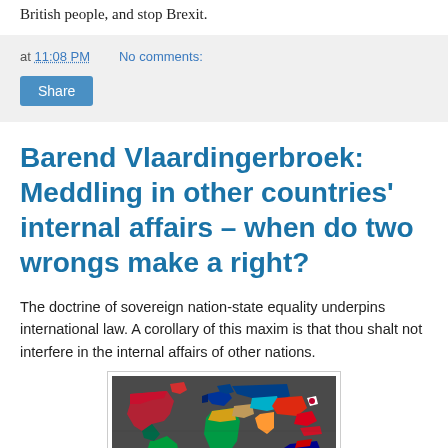British people, and stop Brexit.
at 11:08 PM   No comments:
Share
Barend Vlaardingerbroek: Meddling in other countries' internal affairs – when do two wrongs make a right?
The doctrine of sovereign nation-state equality underpins international law. A corollary of this maxim is that thou shalt not interfere in the internal affairs of other nations.
[Figure (map): World map with countries shown in their respective flag colors, displayed as a 3D-style flat map on a dark grey background.]